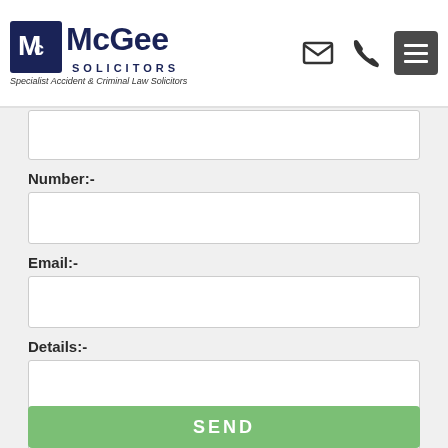[Figure (logo): McGee Solicitors logo with shield icon, text 'McGee SOLICITORS' and tagline 'Specialist Accident & Criminal Law Solicitors']
Number:-
Email:-
Details:-
SEND